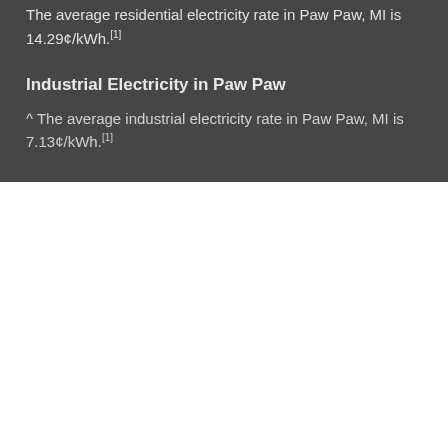The average residential electricity rate in Paw Paw, MI is 14.29¢/kWh.[1]
Industrial Electricity in Paw Paw
^ The average industrial electricity rate in Paw Paw, MI is 7.13¢/kWh.[1]